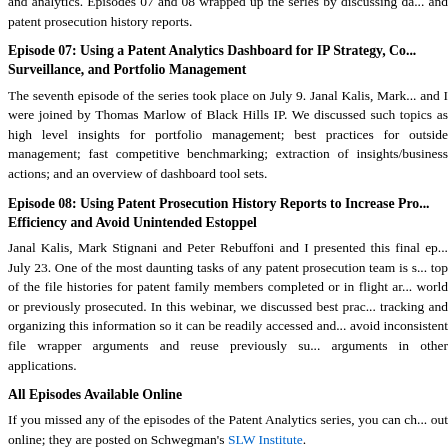and analytics. Episodes 07 and 08 wrapped up the series by discussing da... and patent prosecution history reports.
Episode 07: Using a Patent Analytics Dashboard for IP Strategy, Co... Surveillance, and Portfolio Management
The seventh episode of the series took place on July 9. Janal Kalis, Mark... and I were joined by Thomas Marlow of Black Hills IP. We discussed such topics as high level insights for portfolio management; best practices for outside management; fast competitive benchmarking; extraction of insights/business actions; and an overview of dashboard tool sets.
Episode 08: Using Patent Prosecution History Reports to Increase Pros... Efficiency and Avoid Unintended Estoppel
Janal Kalis, Mark Stignani and Peter Rebuffoni and I presented this final ep... July 23. One of the most daunting tasks of any patent prosecution team is s... top of the file histories for patent family members completed or in flight ar... world or previously prosecuted. In this webinar, we discussed best prac... tracking and organizing this information so it can be readily accessed and... avoid inconsistent file wrapper arguments and reuse previously su... arguments in other applications.
All Episodes Available Online
If you missed any of the episodes of the Patent Analytics series, you can ch... out online; they are posted on Schwegman's SLW Institute.
Let me take this opportunity to thank everyone who joined us for this se...